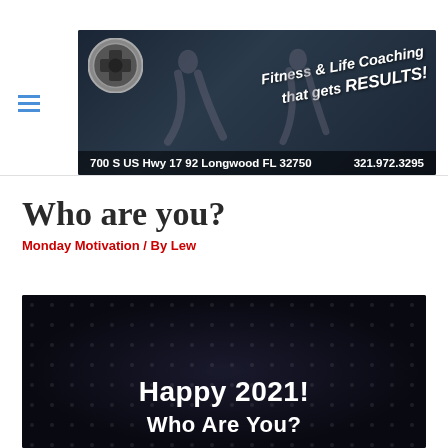[Figure (photo): Fitness & Life Coaching banner image with two athletic figures (man and woman), a barbell weight logo, tagline 'Fitness & Life Coaching that gets RESULTS!', and address '700 S US Hwy 17 92 Longwood FL 32750  321.972.3295']
Who are you?
Monday Motivation / By Lew
[Figure (photo): Dark background motivational image with text 'Happy 2021!' and partially visible text below beginning 'Who Are You?']